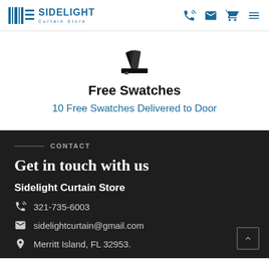Sidelight Curtain Store — navigation header with logo and icons
[Figure (logo): Sidelight Curtain Store logo with barcode/curtain icon and teal text]
[Figure (illustration): Fabric swatches fan icon in black]
Free Swatches
10 Free Swatches Delivered to Door
CONTACT
Get in touch with us
Sidelight Curtain Store
321-735-6003
sidelightcurtain@gmail.com
Merritt Island, FL 32953.